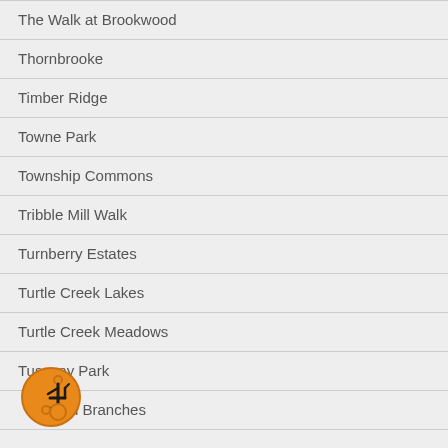The Walk at Brookwood
Thornbrooke
Timber Ridge
Towne Park
Township Commons
Tribble Mill Walk
Turnberry Estates
Turtle Creek Lakes
Turtle Creek Meadows
Tuscany Park
Twin Branches
[Figure (illustration): Orange circle accessibility icon with wheelchair user symbol]